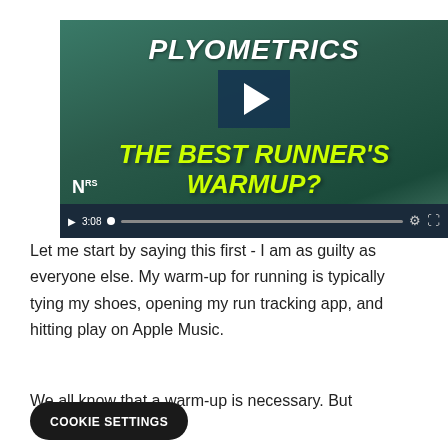[Figure (screenshot): Video thumbnail showing a person exercising in a gym with text overlay 'PLYOMETRICS' at top in white bold italic, and 'THE BEST RUNNER'S WARMUP?' in large yellow-green bold italic text below a dark blue play button. Video player controls visible at bottom with timestamp 3:08.]
Let me start by saying this first - I am as guilty as everyone else. My warm-up for running is typically tying my shoes, opening my run tracking app, and hitting play on Apple Music.
We all know that a warm-up is necessary. But